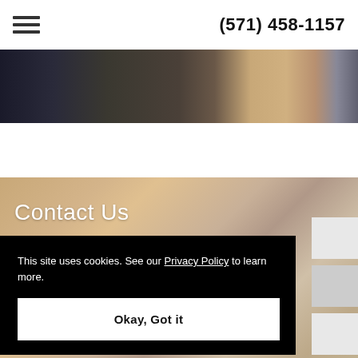(571) 458-1157
[Figure (photo): Partial photo of people at an event, dark background with candles]
Contact Us
This site uses cookies. See our Privacy Policy to learn more.
Okay, Got it
Email*